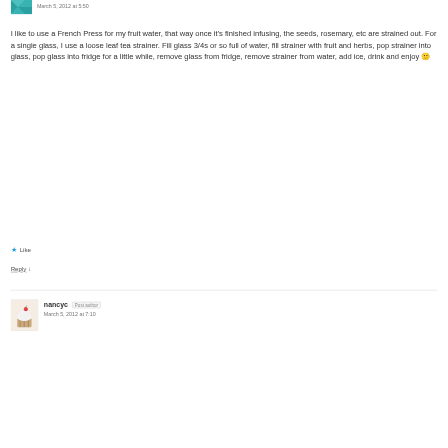March 5, 2012 at 5:50
I like to use a French Press for my fruit water, that way once it's finished infusing, the seeds, rosemary, etc are strained out. For a single glass, I use a loose leaf tea strainer. Fill glass 3/4s or so full of water, fill strainer with fruit and herbs, pop strainer into glass, pop glass into fridge for a little while, remove glass from fridge, remove strainer from water, add ice, drink and enjoy 🙂
★ Like
Reply ↓
nancyc  Post author
March 5, 2012 at 7:10